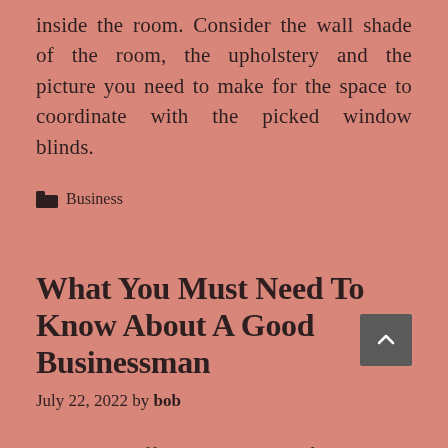inside the room. Consider the wall shade of the room, the upholstery and the picture you need to make for the space to coordinate with the picked window blinds.
Business
What You Must Need To Know About A Good Businessman
July 22, 2022 by bob
Having an effective business life is each